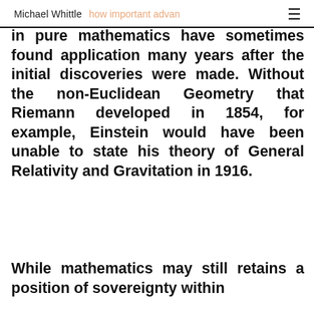Michael Whittle  how important advan≡
in pure mathematics have sometimes found application many years after the initial discoveries were made. Without the non-Euclidean Geometry that Riemann developed in 1854, for example, Einstein would have been unable to state his theory of General Relativity and Gravitation in 1916.
While mathematics may still retains a position of sovereignty within